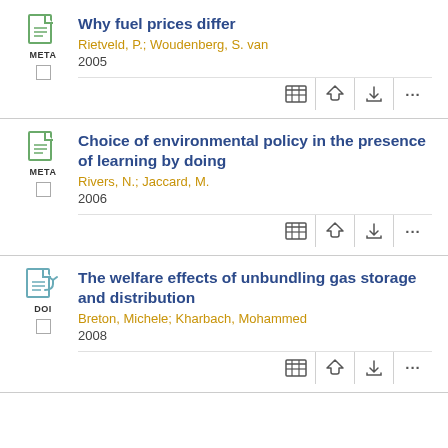Why fuel prices differ
Rietveld, P.; Woudenberg, S. van
2005
Choice of environmental policy in the presence of learning by doing
Rivers, N.; Jaccard, M.
2006
The welfare effects of unbundling gas storage and distribution
Breton, Michele; Kharbach, Mohammed
2008